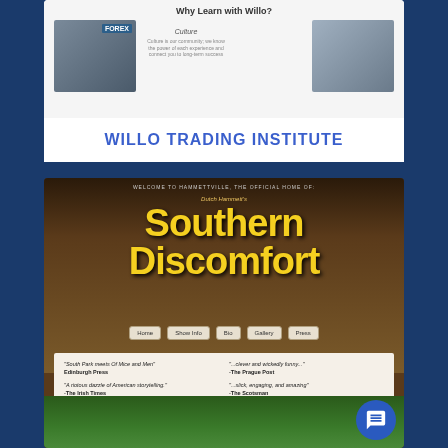[Figure (screenshot): Screenshot of Willo Trading Institute website showing 'Why Learn with Willo?' heading, a FOREX classroom image on the left, 'Culture' section text in the center, and a person studying image on the right]
WILLO TRADING INSTITUTE
[Figure (screenshot): Screenshot of 'Southern Discomfort' website by Dutch Hammett. Header says 'WELCOME TO HAMMETTVILLE, THE OFFICIAL HOME OF:'. Large yellow title text reads 'Southern Discomfort'. Navigation buttons: Home, Show Info, Bio, Gallery, Press. Quotes section with reviews: 'South Park meets Of Mice and Men' Edinburgh Press, '...clever and wickedly funny...' The Prague Post, 'A riotous dazzle of American storytelling.' The Irish Times, '...slick, engaging, and amazing' The Scotsman. Corn field at bottom with man in tuxedo. Chat bubble in bottom right.]